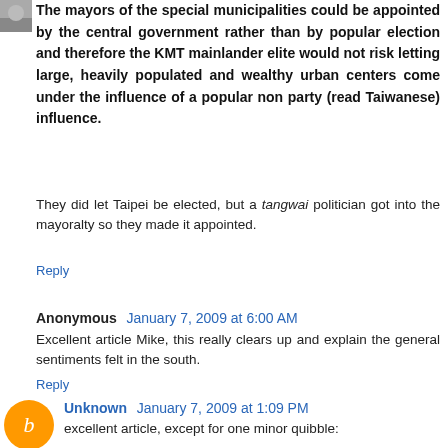The mayors of the special municipalities could be appointed by the central government rather than by popular election and therefore the KMT mainlander elite would not risk letting large, heavily populated and wealthy urban centers come under the influence of a popular non party (read Taiwanese) influence.
They did let Taipei be elected, but a tangwai politician got into the mayoralty so they made it appointed.
Reply
Anonymous  January 7, 2009 at 6:00 AM
Excellent article Mike, this really clears up and explain the general sentiments felt in the south.
Reply
Unknown  January 7, 2009 at 1:09 PM
excellent article, except for one minor quibble: